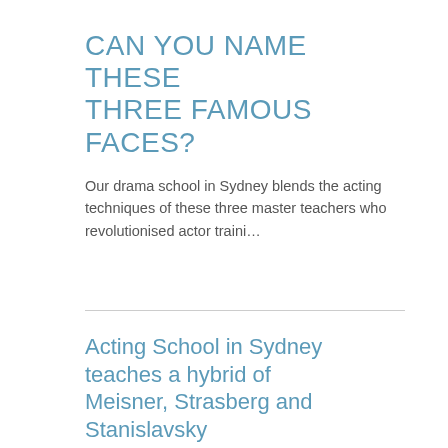CAN YOU NAME THESE THREE FAMOUS FACES?
Our drama school in Sydney blends the acting techniques of these three master teachers who revolutionised actor traini…
Acting School in Sydney teaches a hybrid of Meisner, Strasberg and Stanislavsky
Our groundbreaking approach harnesses acting techniques from master teachers Sanford Meisner, Lee Strasberg, Constan…